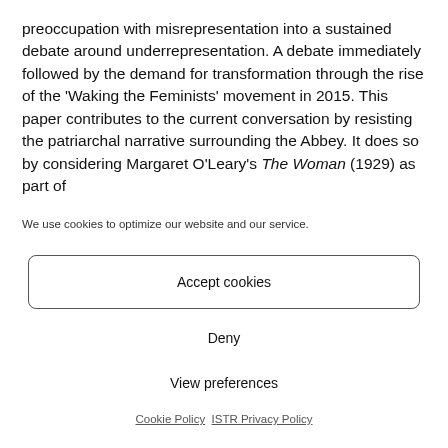preoccupation with misrepresentation into a sustained debate around underrepresentation. A debate immediately followed by the demand for transformation through the rise of the 'Waking the Feminists' movement in 2015. This paper contributes to the current conversation by resisting the patriarchal narrative surrounding the Abbey. It does so by considering Margaret O'Leary's The Woman (1929) as part of
We use cookies to optimize our website and our service.
Accept cookies
Deny
View preferences
Cookie Policy   ISTR Privacy Policy